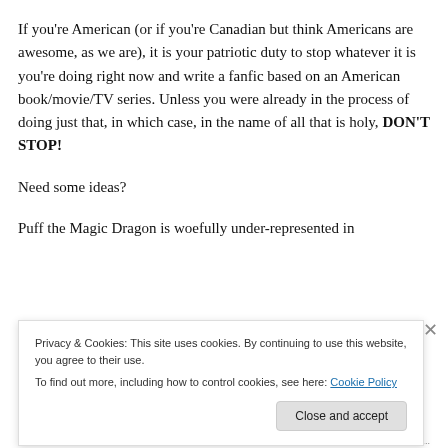If you're American (or if you're Canadian but think Americans are awesome, as we are), it is your patriotic duty to stop whatever it is you're doing right now and write a fanfic based on an American book/movie/TV series. Unless you were already in the process of doing just that, in which case, in the name of all that is holy, DON'T STOP!
Need some ideas?
Puff the Magic Dragon is woefully under-represented in
Privacy & Cookies: This site uses cookies. By continuing to use this website, you agree to their use.
To find out more, including how to control cookies, see here: Cookie Policy
Close and accept